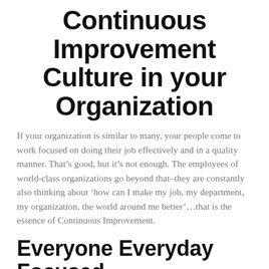Continuous Improvement Culture in your Organization
If your organization is similar to many, your people come to work focused on doing their job effectively and in a quality manner. That’s good, but it’s not enough. The employees of world-class organizations go beyond that–they are constantly also thinking about ‘how can I make my job, my department, my organization, the world around me better’…that is the essence of Continuous Improvement.
Everyone Everyday Focused